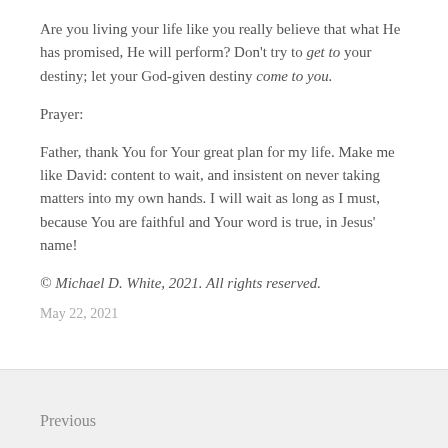Are you living your life like you really believe that what He has promised, He will perform? Don’t try to get to your destiny; let your God-given destiny come to you.
Prayer:
Father, thank You for Your great plan for my life. Make me like David: content to wait, and insistent on never taking matters into my own hands. I will wait as long as I must, because You are faithful and Your word is true, in Jesus’ name!
© Michael D. White, 2021. All rights reserved.
May 22, 2021
Previous